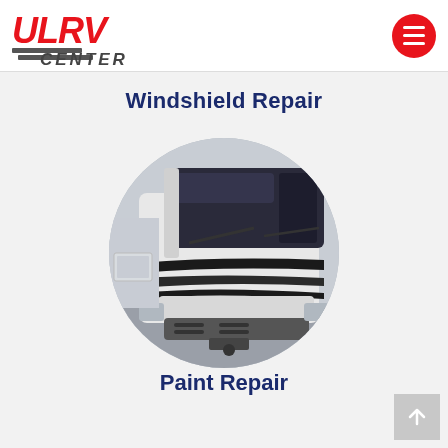ULRV CENTER logo and navigation
Windshield Repair
[Figure (photo): Circular cropped photo of the front of an RV motorhome showing the windshield, cab area, and front bumper with decorative dark stripes on a white body.]
Paint Repair